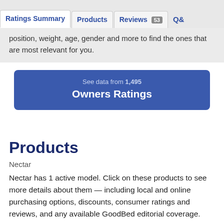Ratings Summary | Products | Reviews 53 | Q&
position, weight, age, gender and more to find the ones that are most relevant for you.
See data from 1,495
Owners Ratings
Products
Nectar
Nectar has 1 active model. Click on these products to see more details about them — including local and online purchasing options, discounts, consumer ratings and reviews, and any available GoodBed editorial coverage.